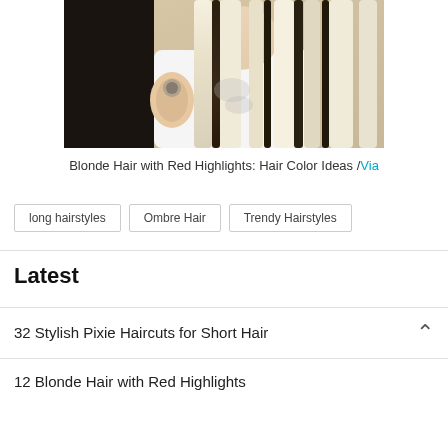[Figure (photo): Photo of a woman with long blonde hair with dark and red highlights/lowlights, wearing a white tank top, showing tattoos on arm]
Blonde Hair with Red Highlights: Hair Color Ideas /Via
long hairstyles
Ombre Hair
Trendy Hairstyles
Latest
32 Stylish Pixie Haircuts for Short Hair
12 Blonde Hair with Red Highlights